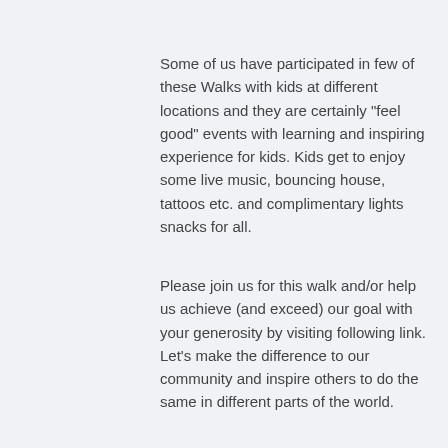Some of us have participated in few of these Walks with kids at different locations and they are certainly "feel good" events with learning and inspiring experience for kids. Kids get to enjoy some live music, bouncing house, tattoos etc. and complimentary lights snacks for all.
Please join us for this walk and/or help us achieve (and exceed) our goal with your generosity by visiting following link. Let's make the difference to our community and inspire others to do the same in different parts of the world.
http://www2.jdrf.org/site/TR?team_id=170248&pg=team&fr_id=3969&et=1Ga3Cu-kdKx8ihGfhitshw